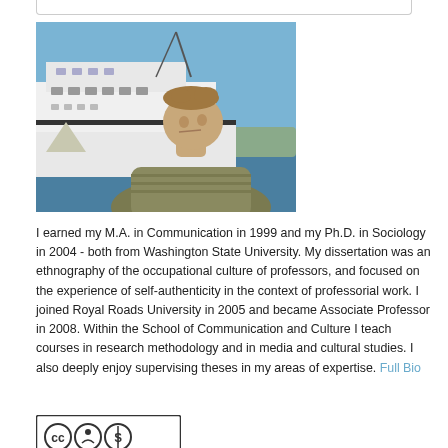[Figure (photo): Outdoor photo of a young man in a striped hoodie standing in front of a large white ferry boat with blue sky and water in the background.]
I earned my M.A. in Communication in 1999 and my Ph.D. in Sociology in 2004 - both from Washington State University. My dissertation was an ethnography of the occupational culture of professors, and focused on the experience of self-authenticity in the context of professorial work. I joined Royal Roads University in 2005 and became Associate Professor in 2008. Within the School of Communication and Culture I teach courses in research methodology and in media and cultural studies. I also deeply enjoy supervising theses in my areas of expertise. Full Bio
[Figure (logo): Creative Commons license badge showing CC BY NC icons in a bordered box.]